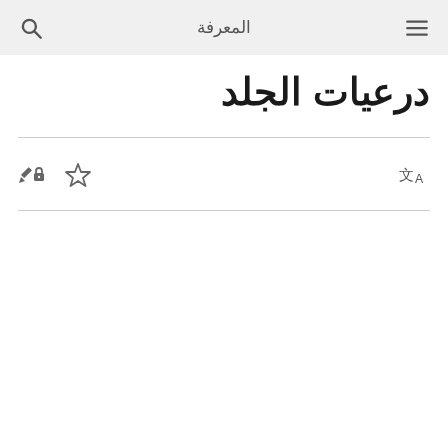المعرفة
درعيات الجلد
[Figure (other): Toolbar with edit-lock icon, star/bookmark icon on the left, and a translate icon (文A) on the right]